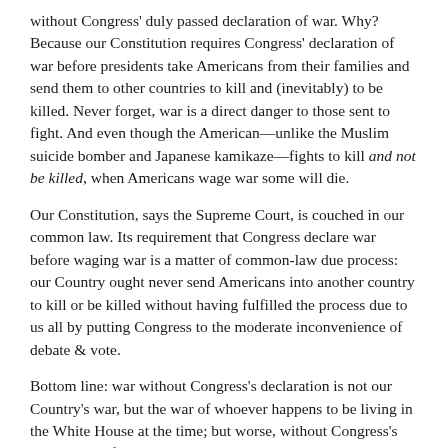without Congress' duly passed declaration of war. Why? Because our Constitution requires Congress' declaration of war before presidents take Americans from their families and send them to other countries to kill and (inevitably) to be killed. Never forget, war is a direct danger to those sent to fight. And even though the American—unlike the Muslim suicide bomber and Japanese kamikaze—fights to kill and not be killed, when Americans wage war some will die.
Our Constitution, says the Supreme Court, is couched in our common law. Its requirement that Congress declare war before waging war is a matter of common-law due process: our Country ought never send Americans into another country to kill or be killed without having fulfilled the process due to us all by putting Congress to the moderate inconvenience of debate & vote.
Bottom line: war without Congress's declaration is not our Country's war, but the war of whoever happens to be living in the White House at the time; but worse, without Congress's declaration of war the lives our soldiers and sailors become a president's pawns & a ticket to his ego's lawless adventure.
Of note, Ron Paul also insists that if Congress does declare war, all...